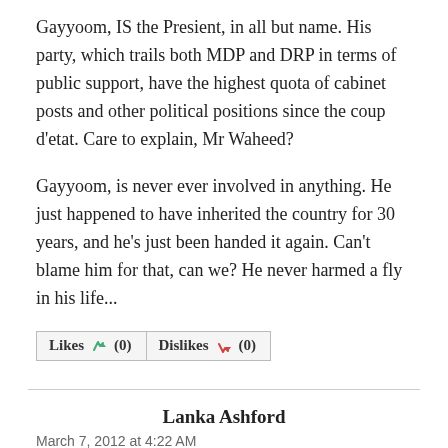Gayyoom, IS the Presient, in all but name. His party, which trails both MDP and DRP in terms of public support, have the highest quota of cabinet posts and other political positions since the coup d'etat. Care to explain, Mr Waheed?
Gayyoom, is never ever involved in anything. He just happened to have inherited the country for 30 years, and he's just been handed it again. Can't blame him for that, can we? He never harmed a fly in his life...
[Figure (other): Like (0) and Dislikes (0) buttons with thumbs up and thumbs down icons]
Lanka Ashford
March 7, 2012 at 4:22 AM
THESE ARE THE COUP LEADERS, MY FRIENDS